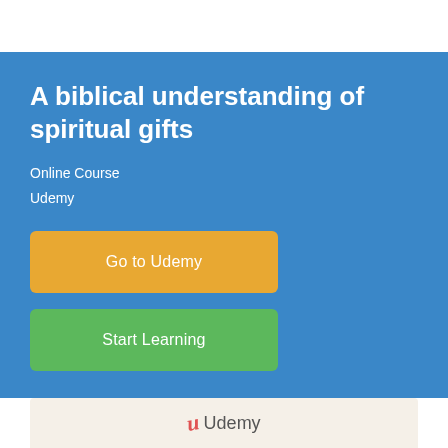A biblical understanding of spiritual gifts
Online Course
Udemy
Go to Udemy
Start Learning
[Figure (logo): Udemy logo with stylized red U and 'Udemy' text on a light beige background, at the bottom of the page]